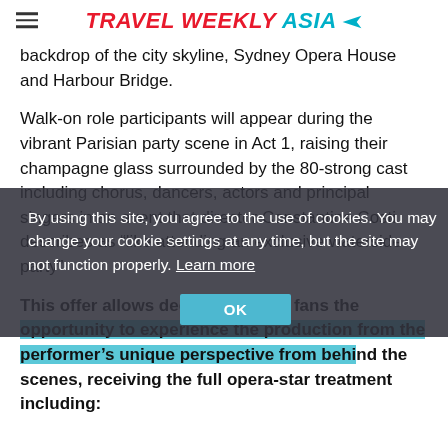TRAVEL WEEKLY ASIA
backdrop of the city skyline, Sydney Opera House and Harbour Bridge.
Walk-on role participants will appear during the vibrant Parisian party scene in Act 1, raising their champagne glass surrounded by the 80-strong cast including chorus, dancers, actors and principal singers in an event that director Constantine Costi describes as “like attending an exclusive waterside party”
By using this site, you agree to the use of cookies. You may change your cookie settings at any time, but the site may not function properly. Learn more
This offer allows dedicated opera fans the opportunity to experience the production from the performer’s unique perspective from behind the scenes, receiving the full opera-star treatment including: